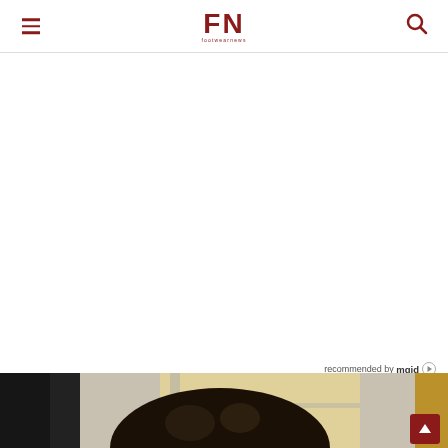FN — Footwear News
recommended by mgid
[Figure (photo): Person with dark hair photographed from behind near a window, partially visible at the bottom of the page]